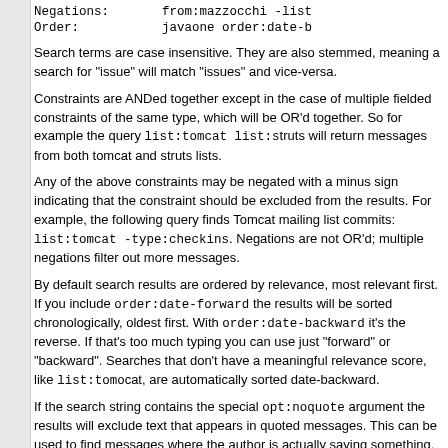| Negations: | from:mazzocchi -list |
| Order: | javaone order:date-b |
Search terms are case insensitive. They are also stemmed, meaning a search for "issue" will match "issues" and vice-versa.
Constraints are ANDed together except in the case of multiple fielded constraints of the same type, which will be OR'd together. So for example the query list:tomcat list:struts will return messages from both tomcat and struts lists.
Any of the above constraints may be negated with a minus sign indicating that the constraint should be excluded from the results. For example, the following query finds Tomcat mailing list commits: list:tomcat -type:checkins. Negations are not OR'd; multiple negations filter out more messages.
By default search results are ordered by relevance, most relevant first. If you include order:date-forward the results will be sorted chronologically, oldest first. With order:date-backward it's the reverse. If that's too much typing you can use just "forward" or "backward". Searches that don't have a meaningful relevance score, like list:tomcat, are automatically sorted date-backward.
If the search string contains the special opt:noquote argument the results will exclude text that appears in quoted messages. This can be used to find messages where the author is actually saying something.
Lastly, the opt:nostem argument in a search indicates you want the search terms unstemmed, meaning a search for run won't match runs or ran as would normally happen. Useful if you want to be precise in what you're looking for.